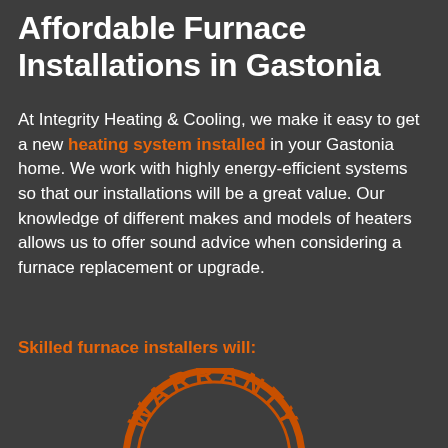Affordable Furnace Installations in Gastonia
At Integrity Heating & Cooling, we make it easy to get a new heating system installed in your Gastonia home. We work with highly energy-efficient systems so that our installations will be a great value. Our knowledge of different makes and models of heaters allows us to offer sound advice when considering a furnace replacement or upgrade.
Skilled furnace installers will:
[Figure (illustration): Orange warranty stamp/seal graphic showing the word WARRANTY in a circular stamp with stars, and RANTY visible on an overlapping rectangle stamp below, all in orange on dark background.]